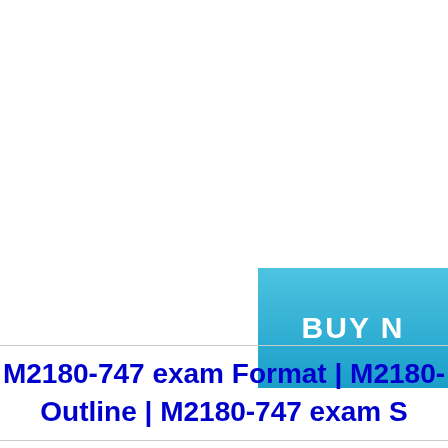[Figure (other): Blue BUY button partially visible in top-right area]
M2180-747 exam Format | M2180- Outline | M2180-747 exam S